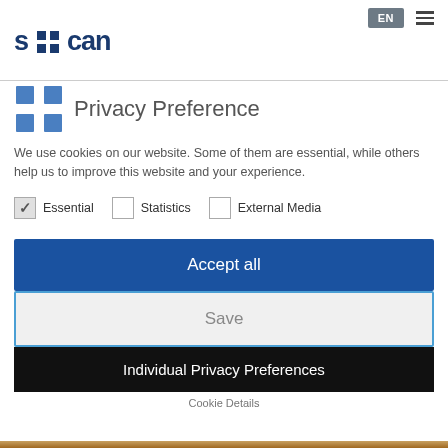EN  ☰
[Figure (logo): sucan logo with blue squares and bold text]
Privacy Preference
We use cookies on our website. Some of them are essential, while others help us to improve this website and your experience.
✓ Essential
Statistics
External Media
Accept all
Save
Individual Privacy Preferences
Cookie Details